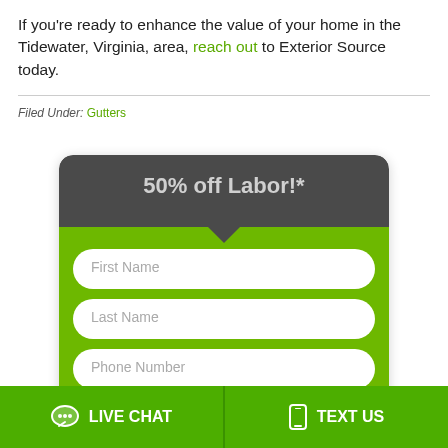If you're ready to enhance the value of your home in the Tidewater, Virginia, area, reach out to Exterior Source today.
Filed Under: Gutters
[Figure (screenshot): A promotional form card with dark gray header reading '50% off Labor!*' with a downward arrow, followed by a green body containing input fields: First Name, Last Name, Phone Number, ZIP, Email Address (partially visible)]
LIVE CHAT
TEXT US